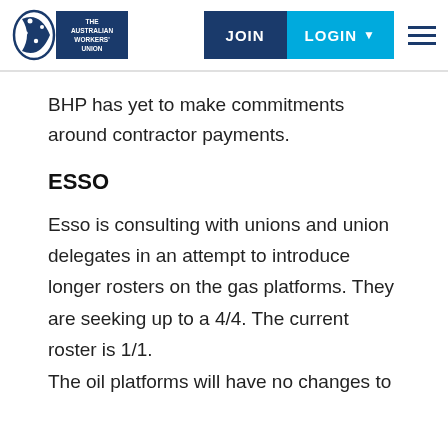The Australian Workers' Union | JOIN | LOGIN
BHP has yet to make commitments around contractor payments.
ESSO
Esso is consulting with unions and union delegates in an attempt to introduce longer rosters on the gas platforms. They are seeking up to a 4/4. The current roster is 1/1. The oil platforms will have no changes to